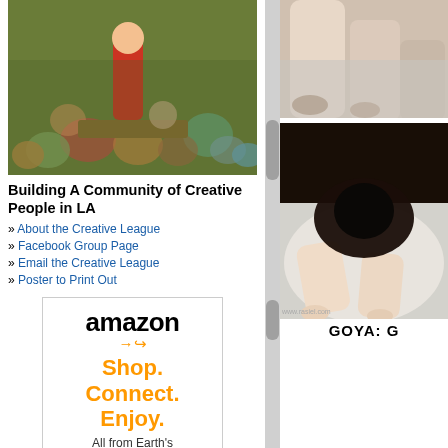[Figure (illustration): Colorful cartoon illustration showing crowd of caricatured people in a busy scene with a tall figure in red]
Building A Community of Creative People in LA
» About the Creative League
» Facebook Group Page
» Email the Creative League
» Poster to Print Out
[Figure (other): Amazon advertisement: amazon logo with smile arrow, tagline Shop. Connect. Enjoy. All from Earth's biggest selection]
[Figure (photo): Close-up photo of legs and feet from a classical painting, pale tones on light background]
[Figure (photo): Dark classical painting showing reclining figure on white sheets, legs visible, www.rasiel.com watermark]
GOYA: G